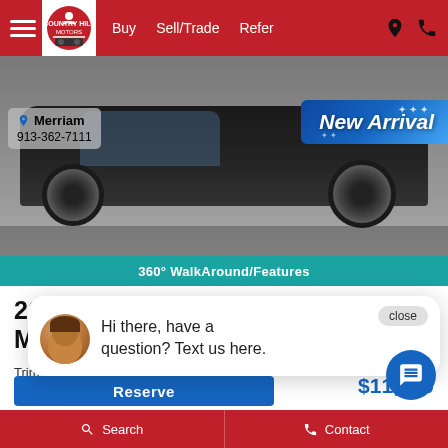Buy  Sell/Trade  Refer
[Figure (photo): Black Mazda Mazda5 car photo with New Arrival banner overlay and location info showing Merriam, 913-362-7111]
360° WalkAround/Features
2012 Mazda Mazda5
Trim: Sport
Stock: 34974
Odo: 90,608 mi.
VIN: JM1CW2BL5C0108830
Hi there, have a question? Text us here.
$11,500
Reserve
Search   Contact